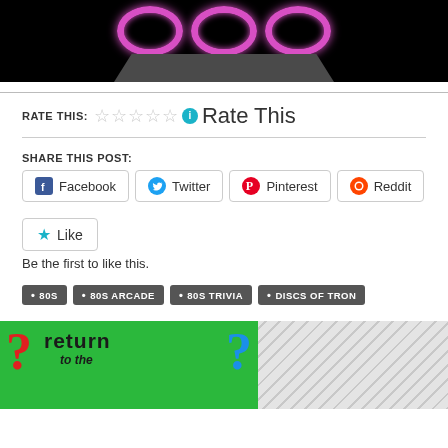[Figure (illustration): Top portion of a dark arcade game screen with pink/magenta glowing circles and a dark trapezoidal platform below them on a black background]
RATE THIS:
★★★★★ ℹ Rate This
SHARE THIS POST:
Facebook  Twitter  Pinterest  Reddit
★ Like
Be the first to like this.
• 80S  • 80S ARCADE  • 80S TRIVIA  • DISCS OF TRON
[Figure (illustration): Partial image at bottom showing a green background with red and blue question marks and the text 'return to the' in dark stylized font, next to a hatched gray rectangle]